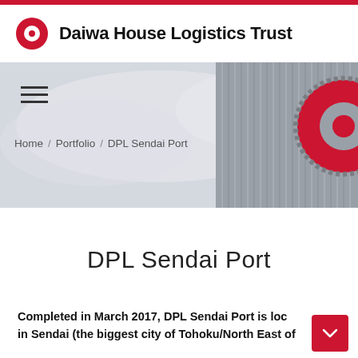[Figure (logo): Daiwa House Logistics Trust logo with red circular icon and bold text]
[Figure (photo): Hero image showing a logistics building exterior with metallic grey corrugated facade and a large red Daiwa House circular logo on the right side, with cloudy sky background]
Home / Portfolio / DPL Sendai Port
DPL Sendai Port
Completed in March 2017, DPL Sendai Port is loc in Sendai (the biggest city of Tohoku/North East of